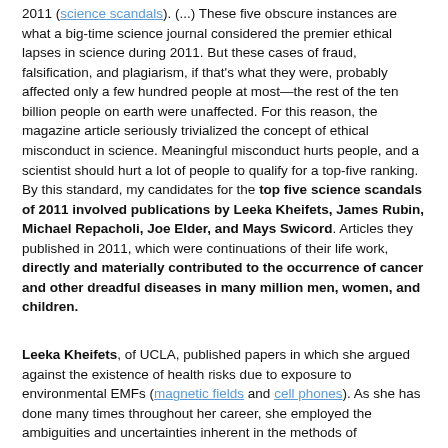2011 (science scandals). (...) These five obscure instances are what a big-time science journal considered the premier ethical lapses in science during 2011. But these cases of fraud, falsification, and plagiarism, if that's what they were, probably affected only a few hundred people at most—the rest of the ten billion people on earth were unaffected. For this reason, the magazine article seriously trivialized the concept of ethical misconduct in science. Meaningful misconduct hurts people, and a scientist should hurt a lot of people to qualify for a top-five ranking. By this standard, my candidates for the top five science scandals of 2011 involved publications by Leeka Kheifets, James Rubin, Michael Repacholi, Joe Elder, and Mays Swicord. Articles they published in 2011, which were continuations of their life work, directly and materially contributed to the occurrence of cancer and other dreadful diseases in many million men, women, and children.
Leeka Kheifets, of UCLA, published papers in which she argued against the existence of health risks due to exposure to environmental EMFs (magnetic fields and cell phones). As she has done many times throughout her career, she employed the ambiguities and uncertainties inherent in the methods of epidemiology as shields to deflect attention